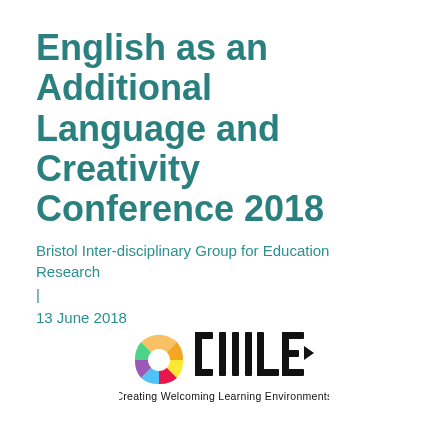English as an Additional Language and Creativity Conference 2018
Bristol Inter-disciplinary Group for Education Research
|
13 June 2018
[Figure (logo): CWLE logo — Creating Welcoming Learning Environments — with a colorful aperture-style icon and stylized CWLE lettering in black]